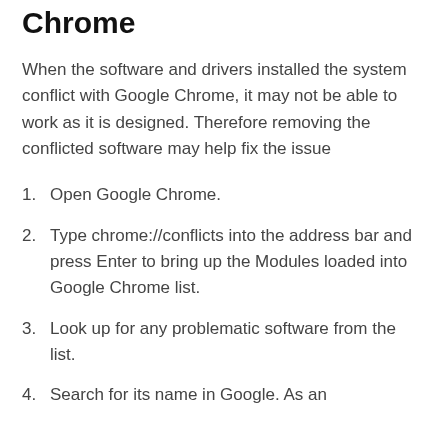Chrome
When the software and drivers installed the system conflict with Google Chrome, it may not be able to work as it is designed. Therefore removing the conflicted software may help fix the issue
Open Google Chrome.
Type chrome://conflicts into the address bar and press Enter to bring up the Modules loaded into Google Chrome list.
Look up for any problematic software from the list.
Search for its name in Google. As an